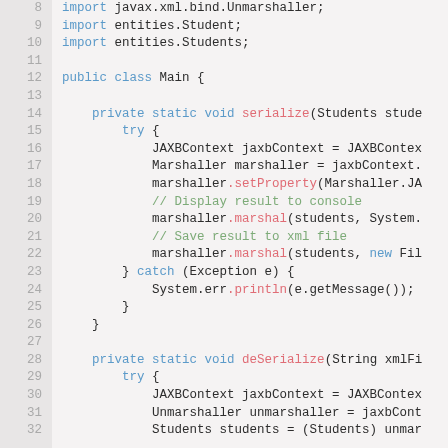[Figure (screenshot): Java source code snippet showing lines 8–32 of a file. Includes import statements, a public class Main declaration, a private static serialize method with JAXBContext, Marshaller usage and try-catch block, and the beginning of a deSerialize method.]